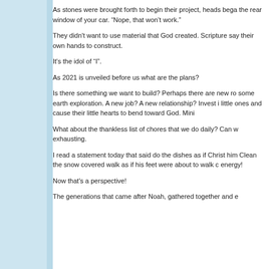As stones were brought forth to begin their project, heads bega the rear window of your car. "Nope, that won't work."
They didn't want to use material that God created. Scripture say their own hands to construct.
It's the idol of “I”.
As 2021 is unveiled before us what are the plans?
Is there something we want to build? Perhaps there are new ro some earth exploration. A new job? A new relationship? Invest i little ones and cause their little hearts to bend toward God. Mini
What about the thankless list of chores that we do daily? Can w exhausting.
I read a statement today that said do the dishes as if Christ him Clean the snow covered walk as if his feet were about to walk c energy!
Now that's a perspective!
The generations that came after Noah, gathered together and e